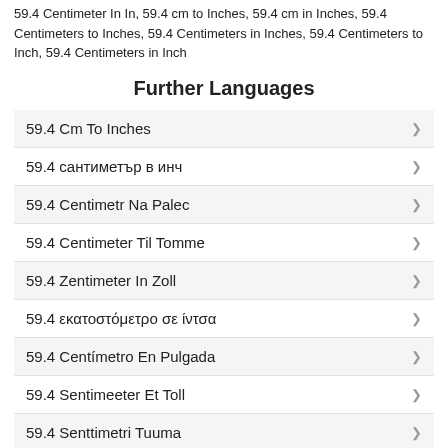59.4 Centimeter In In, 59.4 cm to Inches, 59.4 cm in Inches, 59.4 Centimeters to Inches, 59.4 Centimeters in Inches, 59.4 Centimeters to Inch, 59.4 Centimeters in Inch
Further Languages
59.4 Cm To Inches
59.4 сантиметър в инч
59.4 Centimetr Na Palec
59.4 Centimeter Til Tomme
59.4 Zentimeter In Zoll
59.4 εκατοστόμετρο σε ίντσα
59.4 Centímetro En Pulgada
59.4 Sentimeeter Et Toll
59.4 Senttimetri Tuuma